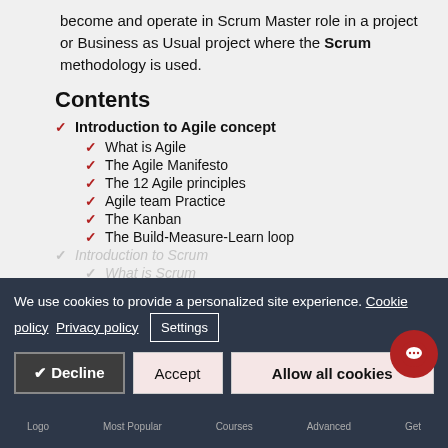become and operate in Scrum Master role in a project or Business as Usual project where the Scrum methodology is used.
Contents
Introduction to Agile concept
What is Agile
The Agile Manifesto
The 12 Agile principles
Agile team Practice
The Kanban
The Build-Measure-Learn loop
Introduction to Scrum
What is Scrum
Why using Scrum
Scrum Cer...
We use cookies to provide a personalized site experience. Cookie policy Privacy policy Settings
Decline | Accept | Allow all cookies